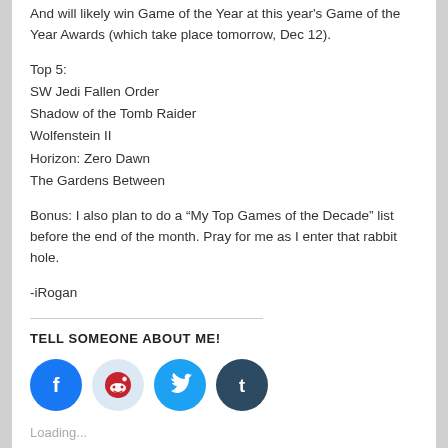And will likely win Game of the Year at this year's Game of the Year Awards (which take place tomorrow, Dec 12).
Top 5:
SW Jedi Fallen Order
Shadow of the Tomb Raider
Wolfenstein II
Horizon: Zero Dawn
The Gardens Between
Bonus: I also plan to do a “My Top Games of the Decade” list before the end of the month. Pray for me as I enter that rabbit hole.
-iRogan
TELL SOMEONE ABOUT ME!
[Figure (infographic): Four social media share buttons: Facebook (blue circle), Reddit (light blue circle), Twitter (blue circle), Tumblr (dark blue circle)]
Loading...